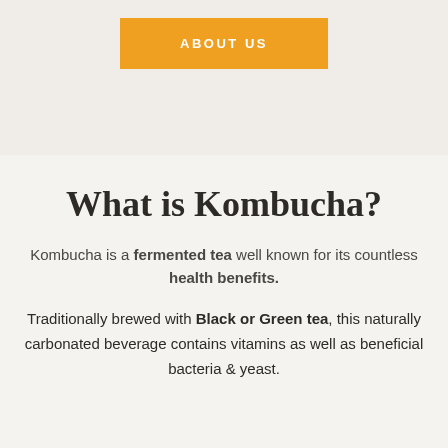[Figure (other): Orange rectangular button with white bold uppercase text reading ABOUT US]
What is Kombucha?
Kombucha is a fermented tea well known for its countless health benefits.
Traditionally brewed with Black or Green tea, this naturally carbonated beverage contains vitamins as well as beneficial bacteria & yeast.